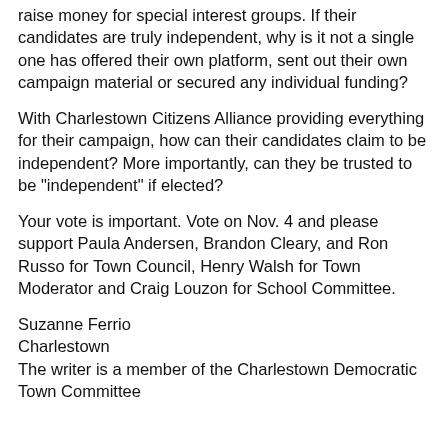raise money for special interest groups. If their candidates are truly independent, why is it not a single one has offered their own platform, sent out their own campaign material or secured any individual funding?
With Charlestown Citizens Alliance providing everything for their campaign, how can their candidates claim to be independent? More importantly, can they be trusted to be "independent" if elected?
Your vote is important. Vote on Nov. 4 and please support Paula Andersen, Brandon Cleary, and Ron Russo for Town Council, Henry Walsh for Town Moderator and Craig Louzon for School Committee.
Suzanne Ferrio
Charlestown
The writer is a member of the Charlestown Democratic Town Committee